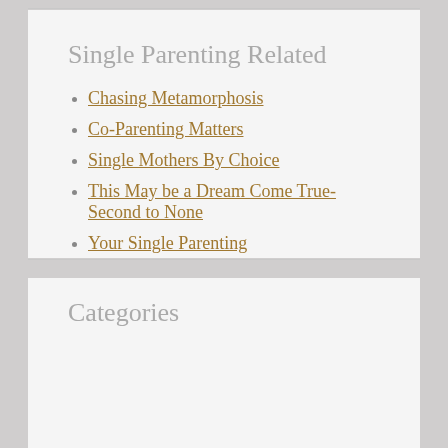Single Parenting Related
Chasing Metamorphosis
Co-Parenting Matters
Single Mothers By Choice
This May be a Dream Come True- Second to None
Your Single Parenting
Categories